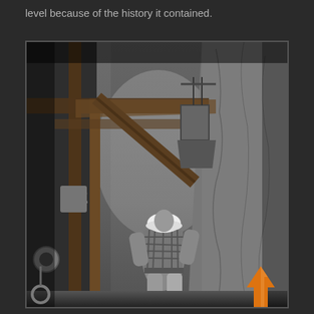level because of the history it contained.
[Figure (photo): Black and white photograph of a miner wearing a hard hat and plaid shirt walking away from the camera through an underground mine tunnel, with wooden beam supports visible on the left and rough rock walls on the right. A number '2' is visible on a wooden post. An orange upward-pointing arrow is overlaid in the bottom right corner of the image.]